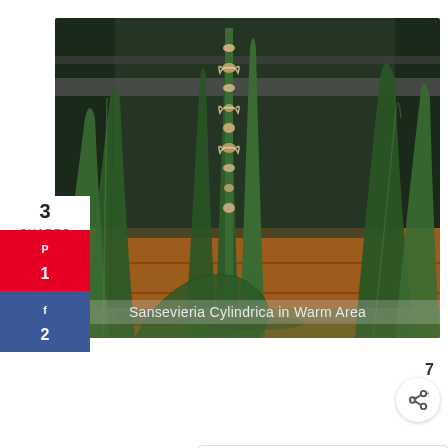[Figure (photo): Close-up photo of Sansevieria Cylindrica (cylindrical snake plant) with tall green cylindrical leaves and a flowering spike with creamy white blooms, growing outdoors against a brick wall background.]
Sansevieria Cylindrica in Warm Area
3
SHARES
[Figure (infographic): Pinterest share button (red) with count 1, and Facebook share button (dark blue) with count 2.]
[Figure (infographic): Heart/like button (teal circle) and share button (white circle with share icon), with share count 7.]
[Figure (infographic): What's Next panel showing a thumbnail of Sansevieria Black Coral with label 'WHAT'S NEXT →' and title 'Sansevieria Black Coral...']
[Figure (infographic): Advertisement banner with photo of three smiling Black children and text 'Black Families Matter' with a logo icon, and a close (×) button.]